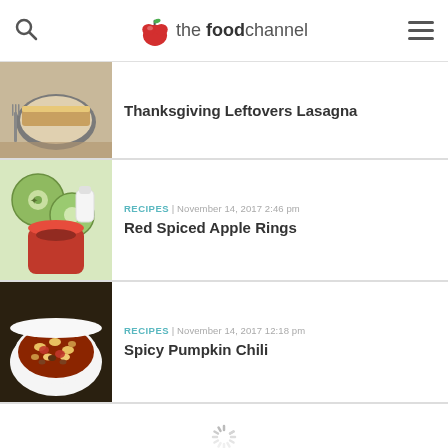the foodchannel
Thanksgiving Leftovers Lasagna
RECIPES | November 14, 2017 2:46 pm
Red Spiced Apple Rings
RECIPES | November 14, 2017 12:18 pm
Spicy Pumpkin Chili
[Figure (other): Loading spinner icon]